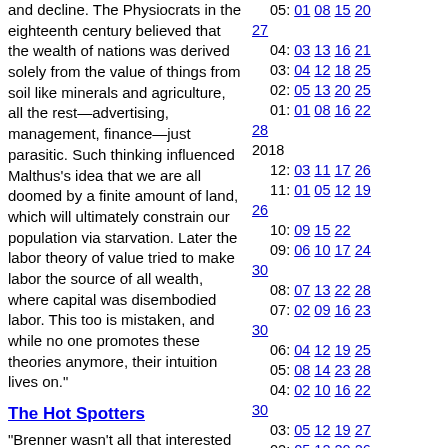and decline. The Physiocrats in the eighteenth century believed that the wealth of nations was derived solely from the value of things from soil like minerals and agriculture, all the rest—advertising, management, finance—just parasitic. Such thinking influenced Malthus's idea that we are all doomed by a finite amount of land, which will ultimately constrain our population via starvation. Later the labor theory of value tried to make labor the source of all wealth, where capital was disembodied labor. This too is mistaken, and while no one promotes these theories anymore, their intuition lives on."
The Hot Spotters
"Brenner wasn't all that interested in costs he was more interested in helping people who received bad health care. But in his experience the people with the highest medical costs—the people cycling in and out of the hospital—were usually the
05: 01 08 15 20
27
04: 03 13 16 21
03: 04 12 18 25
02: 05 13 20 25
01: 01 08 16 22
28
2018
12: 03 11 17 26
11: 01 05 12 19
26
10: 09 15 22
09: 06 10 17 24
30
08: 07 13 22 28
07: 02 09 16 23
30
06: 04 12 19 25
05: 08 14 23 28
04: 02 10 16 22
30
03: 05 12 19 27
02: 05 12 20 26